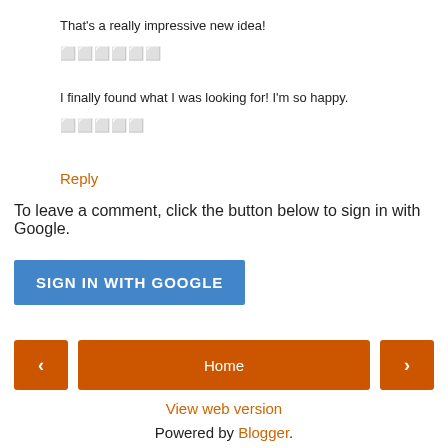That's a really impressive new idea!
⬜⬜⬜⬜⬜⬜ (star rating)
I finally found what I was looking for! I'm so happy.
⬜⬜⬜⬜⬜ (star rating)
Reply
To leave a comment, click the button below to sign in with Google.
SIGN IN WITH GOOGLE
Home
View web version
Powered by Blogger.